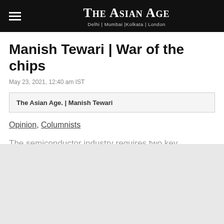THE ASIAN AGE | Delhi | Mumbai | Kolkata | London
Manish Tewari | War of the chips
May 23, 2021, 12:40 am IST
The Asian Age. | Manish Tewari
Opinion, Columnists
The semiconductor industry requires two key resources sand and freshwater. They are the basic raw materials